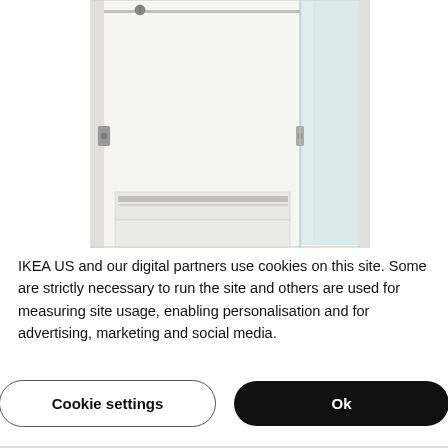[Figure (photo): Close-up interior view of an open white IKEA wardrobe/armoire showing a clothes rail at top, hinges on both sides, and a white drawer unit at the bottom. One door panel with a mirror is partially visible on the right side.]
IKEA US and our digital partners use cookies on this site. Some are strictly necessary to run the site and others are used for measuring site usage, enabling personalisation and for advertising, marketing and social media.
Cookie settings
Ok